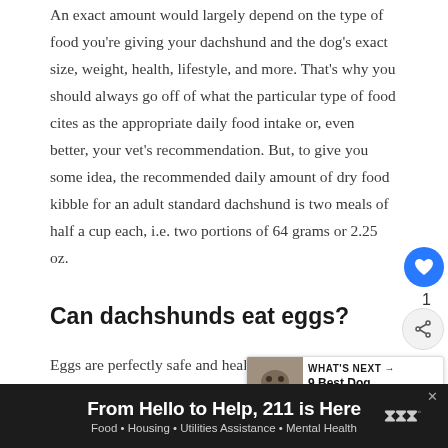An exact amount would largely depend on the type of food you’re giving your dachshund and the dog’s exact size, weight, health, lifestyle, and more. That’s why you should always go off of what the particular type of food cites as the appropriate daily food intake or, even better, your vet’s recommendation. But, to give you some idea, the recommended daily amount of dry food kibble for an adult standard dachshund is two meals of half a cup each, i.e. two portions of 64 grams or 2.25 oz.
Can dachshunds eat eggs?
Eggs are perfectly safe and healthy for d…
Doxies are no exception. Eggs are very rich in fatty
[Figure (other): UI overlay: blue circular like/heart button with heart icon, count of 1, and circular share button with share icon]
[Figure (other): What’s Next widget showing a photo of a dog and text: WHAT’S NEXT → 9 Best Dog Diapers For...]
[Figure (other): Advertisement banner at bottom: dark background. Text: 'From Hello to Help, 211 is Here' with subtitle 'Food • Housing • Utilities Assistance • Mental Health'. X close button. Logo at right.]